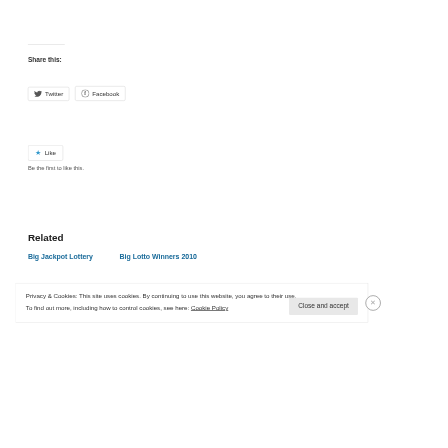Share this:
Twitter
Facebook
Like
Be the first to like this.
Related
Big Jackpot Lottery
Big Lotto Winners 2010
Privacy & Cookies: This site uses cookies. By continuing to use this website, you agree to their use.
To find out more, including how to control cookies, see here: Cookie Policy
Close and accept